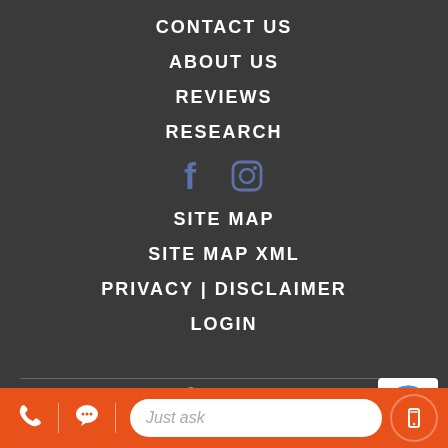CONTACT US
ABOUT US
REVIEWS
RESEARCH
[Figure (logo): Facebook and Instagram social media icons in blue/steel color]
SITE MAP
SITE MAP XML
PRIVACY | DISCLAIMER
LOGIN
Copyright © 2022 Keystone Ford
[Figure (logo): reCAPTCHA badge logo (white box with reCAPTCHA icon)]
[Figure (infographic): Orange bottom bar with phone icon, chat icon, 'Just ask' input field, and mobile icon button]